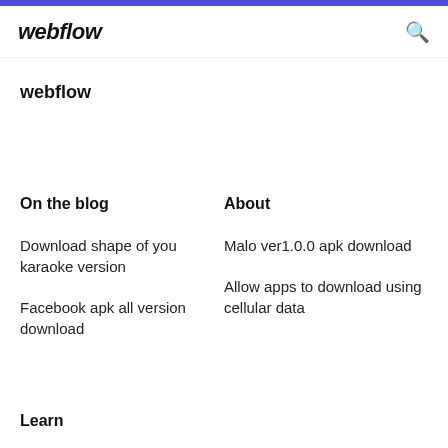webflow
webflow
On the blog
About
Download shape of you karaoke version
Malo ver1.0.0 apk download
Facebook apk all version download
Allow apps to download using cellular data
Learn